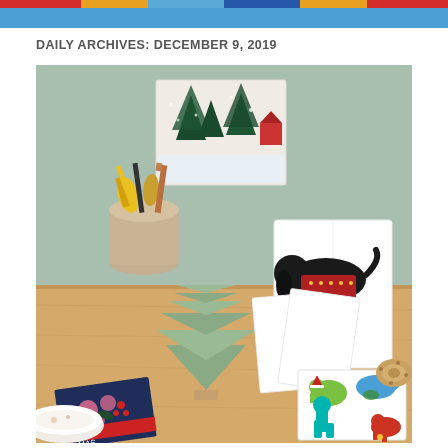DAILY ARCHIVES: DECEMBER 9, 2019
[Figure (photo): A styled desk scene with Christmas cards, an origami paper Christmas tree, a cup holding scissors and pens, and various holiday greeting cards featuring a dog in a sweater ('Happy Howlidays'), dinosaurs in Christmas hats, and a 'Merry Christmas' floral card. A roll of washi tape is visible on the right. Background is sage green wall with wooden desk surface.]